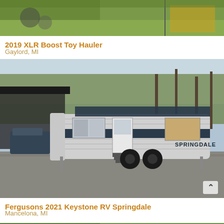[Figure (photo): Outdoor scene with grass and yard items, partial view cropped at top of page]
2019 XLR Boost Toy Hauler
Gaylord, MI
[Figure (photo): Keystone Springdale travel trailer RV parked on gravel driveway with trees in background]
Fergusons 2021 Keystone RV Springdale
Mancelona, MI
[Figure (photo): Partial view of another listing photo at the bottom of the page, cropped]